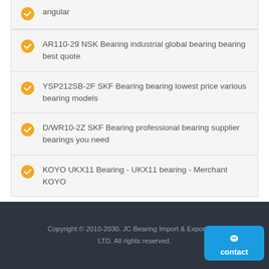angular
AR110-29 NSK Bearing industrial global bearing bearing best quote
YSP212SB-2F SKF Bearing bearing lowest price various bearing models
D/WR10-2Z SKF Bearing professional bearing supplier bearings you need
KOYO UKX11 Bearing - UKX11 bearing - Merchant KOYO
Copyright © 2010-2030. JC Bearing Import & Export Co., LTD. All rights reserved.